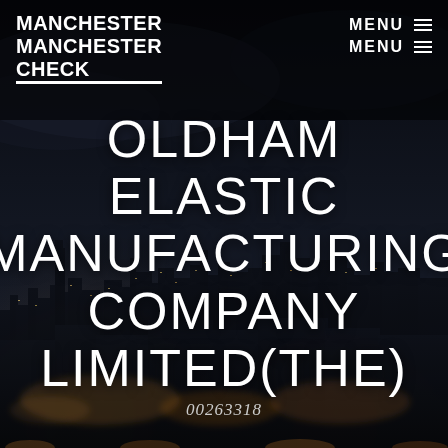[Figure (photo): Dark night cityscape background photo showing Manchester city skyline with warm city lights and dark cloudy sky]
MANCHESTER MANCHESTER CHECK   MENU ≡ MENU ≡
OLDHAM ELASTIC MANUFACTURING COMPANY LIMITED(THE)
00263318